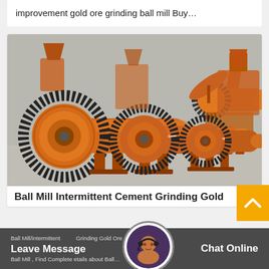improvement gold ore grinding ball mill Buy…
[Figure (photo): Multiple orange industrial ball mills of various sizes displayed outdoors, with large gear rings visible on their ends. Labels visible: 1200x4500, 900x1800, 900x1800.]
Ball Mill Intermittent Cement Grinding Gold
Ball Mill/intermittent Grinding Gold Ore Ball Mill , Find Complete Details about Ball…
Leave Message   Chat Online